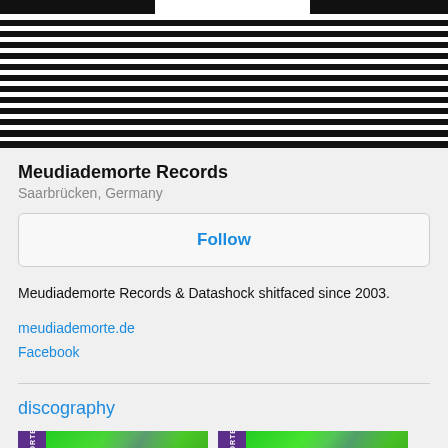[Figure (other): Banner image with horizontal black and white stripes pattern, with two darker rectangular blocks at top]
Meudiademorte Records
Saarbrücken, Germany
Follow
Meudiademorte Records & Datashock shitfaced since 2003.
meudiademorte.de
Facebook
discography
[Figure (photo): Two album thumbnail images with purple spine and green abstract art covers]